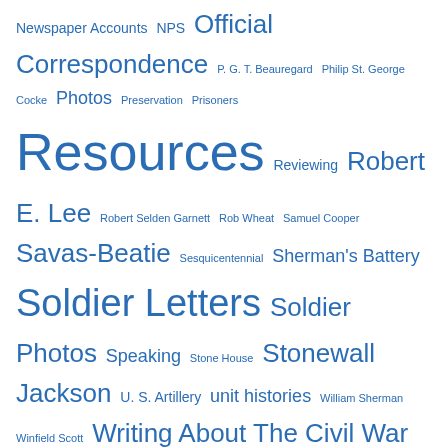Newspaper Accounts NPS Official Correspondence P. G. T. Beauregard Philip St. George Cocke Photos Preservation Prisoners Resources Reviewing Robert E. Lee Robert Selden Garnett Rob Wheat Samuel Cooper Savas-Beatie Sesquicentennial Sherman's Battery Soldier Letters Soldier Photos Speaking Stone House Stonewall Jackson U. S. Artillery unit histories William Sherman Winfield Scott Writing About The Civil War Zouaves
Blog Stats
1,090,890 hits
[Figure (other): Site Meter image/logo]